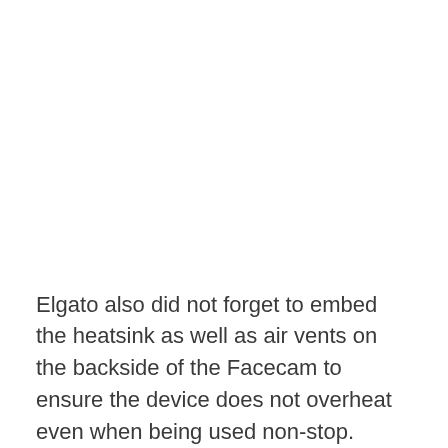Elgato also did not forget to embed the heatsink as well as air vents on the backside of the Facecam to ensure the device does not overheat even when being used non-stop.